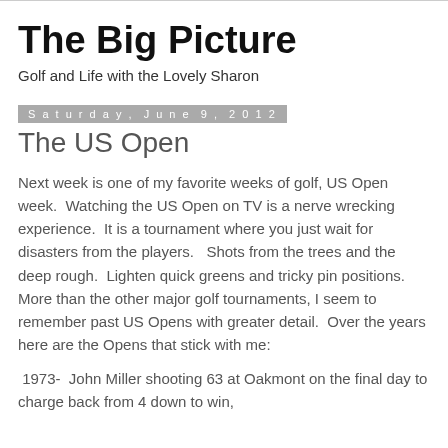The Big Picture
Golf and Life with the Lovely Sharon
Saturday, June 9, 2012
The US Open
Next week is one of my favorite weeks of golf, US Open week.  Watching the US Open on TV is a nerve wrecking experience.  It is a tournament where you just wait for disasters from the players.   Shots from the trees and the deep rough.  Lighten quick greens and tricky pin positions.  More than the other major golf tournaments, I seem to remember past US Opens with greater detail.  Over the years here are the Opens that stick with me:
1973-  John Miller shooting 63 at Oakmont on the final day to charge back from 4 down to win,